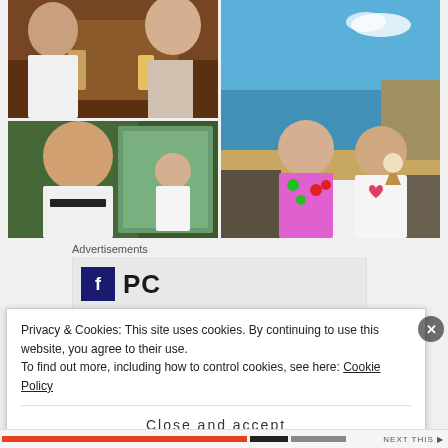[Figure (photo): Collage of four photos: top-left shows a man and woman toasting drinks at a restaurant; top-right and spanning bottom-right shows two girls eating ice cream on a rocky beach with blue sea and sky; bottom-left shows a man laughing and a small girl on what appears to be a train or bus window seat.]
Advertisements
[Figure (logo): Partial advertisement logo showing a dark blue square icon and large bold letters 'PC' or 'PG']
Privacy & Cookies: This site uses cookies. By continuing to use this website, you agree to their use.
To find out more, including how to control cookies, see here: Cookie Policy
Close and accept